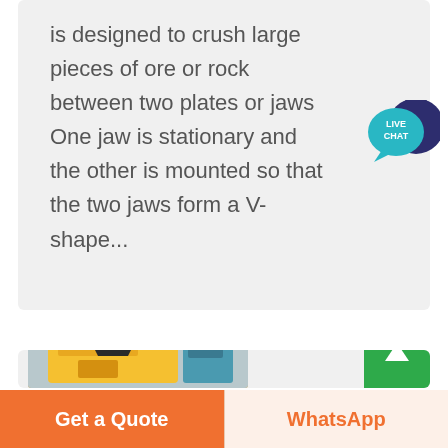is designed to crush large pieces of ore or rock between two plates or jaws One jaw is stationary and the other is mounted so that the two jaws form a V-shape...
[Figure (screenshot): Live chat widget with two overlapping speech bubbles — dark navy blue bubble behind and teal/cyan bubble in front with 'LIVE CHAT' text]
[Figure (photo): Industrial yellow crushing machine in a factory/warehouse setting with blue equipment visible in the background]
[Figure (other): Green scroll-to-top button with a white upward arrow]
Get a Quote
WhatsApp